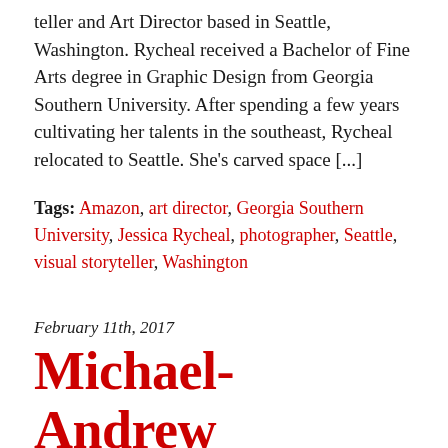teller and Art Director based in Seattle, Washington. Rycheal received a Bachelor of Fine Arts degree in Graphic Design from Georgia Southern University. After spending a few years cultivating her talents in the southeast, Rycheal relocated to Seattle. She’s carved space [...]
Tags: Amazon, art director, Georgia Southern University, Jessica Rycheal, photographer, Seattle, visual storyteller, Washington
February 11th, 2017
Michael-Andrew Spalding